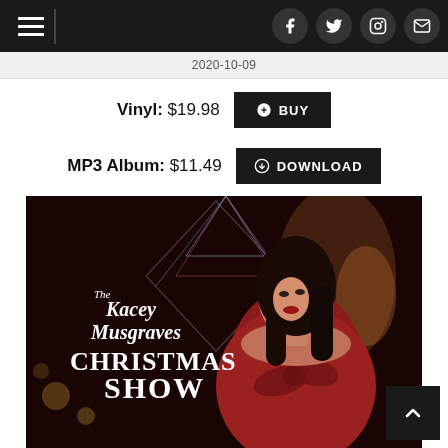Navigation bar with hamburger menu and social icons (Facebook, Twitter, Instagram, Email)
2020-10-09
Vinyl: $19.98  + BUY
MP3 Album: $11.49  ⊙ DOWNLOAD
[Figure (photo): The Kacey Musgraves Christmas Show album cover featuring Kacey Musgraves in a red off-shoulder gown with a large bow, dark hair, red lipstick, with album title text overlaid on a dark background with geometric light patterns]